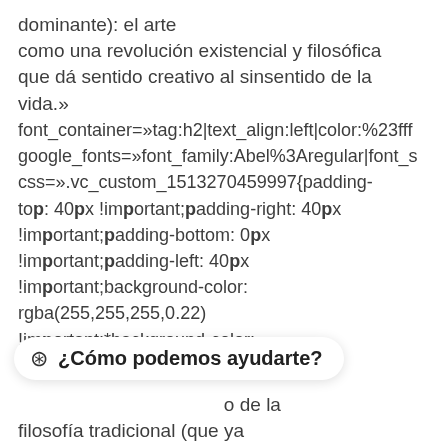dominante): el arte como una revolución existencial y filosófica que dá sentido creativo al sinsentido de la vida.»
font_container=»tag:h2|text_align:left|color:%23fff google_fonts=»font_family:Abel%3Aregular|font_s css=».vc_custom_1513270459997{padding-top: 40px !important;padding-right: 40px !important;padding-bottom: 0px !important;padding-left: 40px !important;background-color: rgba(255,255,255,0.22) !important;*background-color: rgb(255,255,255) !important;}»]
¿Cómo podemos ayudarte?
o de la filosofía tradicional (que ya